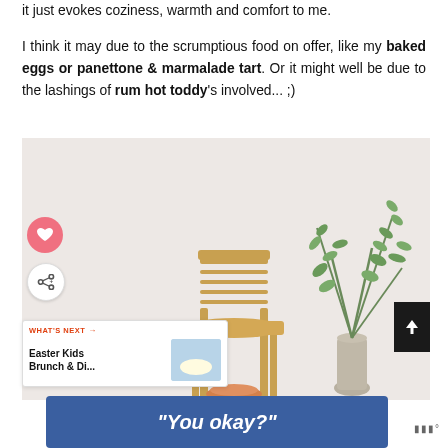it just evokes coziness, warmth and comfort to me.
I think it may due to the scrumptious food on offer, like my baked eggs or panettone & marmalade tart. Or it might well be due to the lashings of rum hot toddy's involved... ;)
[Figure (photo): A lifestyle photo showing a wooden chair and a eucalyptus plant arrangement against a light pink/cream background, with social media heart and share buttons overlaid on the left side.]
WHAT'S NEXT → Easter Kids Brunch & Di...
"You okay?"